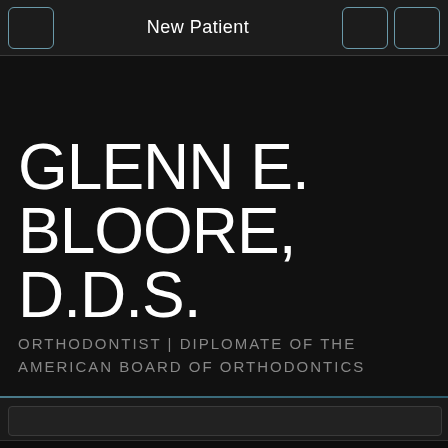New Patient
GLENN E. BLOORE, D.D.S.
ORTHODONTIST | DIPLOMATE OF THE AMERICAN BOARD OF ORTHODONTICS